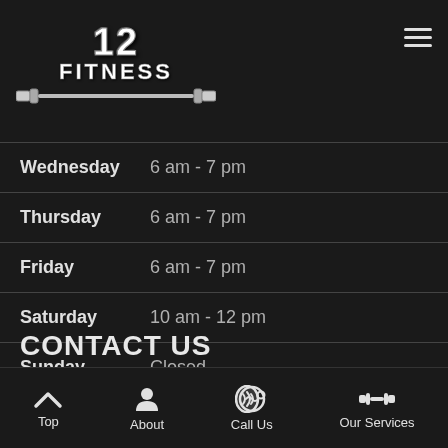[Figure (logo): 12 Fitness logo with barbell graphic on dark background]
| Day | Hours |
| --- | --- |
| Wednesday | 6 am - 7 pm |
| Thursday | 6 am - 7 pm |
| Friday | 6 am - 7 pm |
| Saturday | 10 am - 12 pm |
| Sunday | Closed |
CONTACT US
Calgary
Top   About   Call Us   Our Services